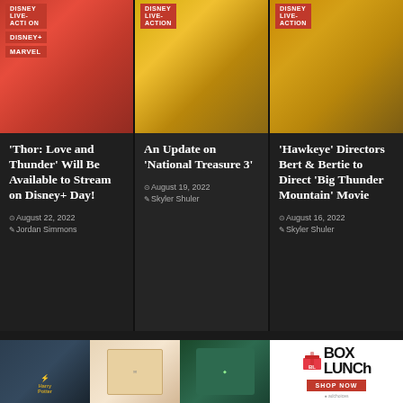[Figure (photo): Three column image strip showing movie/show promotional images. Left: red-themed image with badges: DISNEY LIVE-ACTION, DISNEY+, MARVEL. Middle: gold/yellow-themed image with badge: DISNEY LIVE-ACTION. Right: orange/gold-themed image with badge: DISNEY LIVE-ACTION.]
'Thor: Love and Thunder' Will Be Available to Stream on Disney+ Day!
August 22, 2022 Jordan Simmons
An Update on 'National Treasure 3'
August 19, 2022 Skyler Shuler
'Hawkeye' Directors Bert & Bertie to Direct 'Big Thunder Mountain' Movie
August 16, 2022 Skyler Shuler
YOU MAY HAVE MISSED
[Figure (photo): Advertisement banner for BoxLunch showing Harry Potter merchandise including castle, stationery, and sweater items. BoxLunch logo with SHOP NOW button on right.]